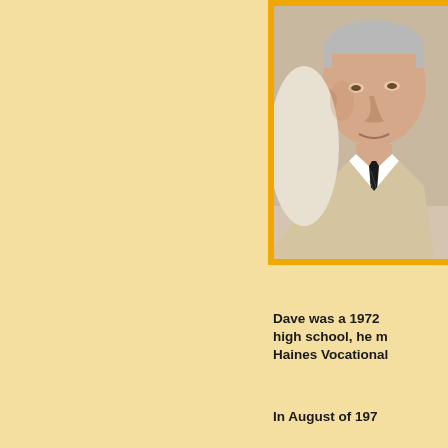[Figure (photo): Portrait photo of a middle-aged man wearing a white shirt and black tie, framed with a yellow/gold border]
Dave was a 1972 high school, he m Haines Vocational
In August of 197